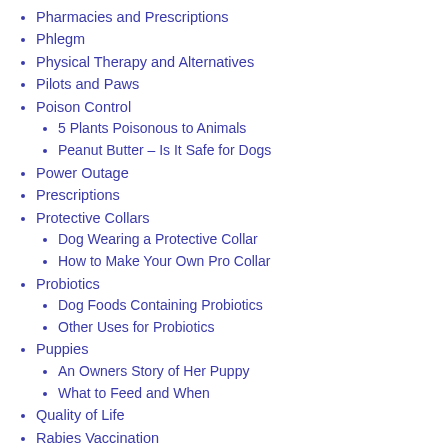Pharmacies and Prescriptions
Phlegm
Physical Therapy and Alternatives
Pilots and Paws
Poison Control
5 Plants Poisonous to Animals
Peanut Butter – Is It Safe for Dogs
Power Outage
Prescriptions
Protective Collars
Dog Wearing a Protective Collar
How to Make Your Own Pro Collar
Probiotics
Dog Foods Containing Probiotics
Other Uses for Probiotics
Puppies
An Owners Story of Her Puppy
What to Feed and When
Quality of Life
Rabies Vaccination
Rainbow Bridge
Raw Diet